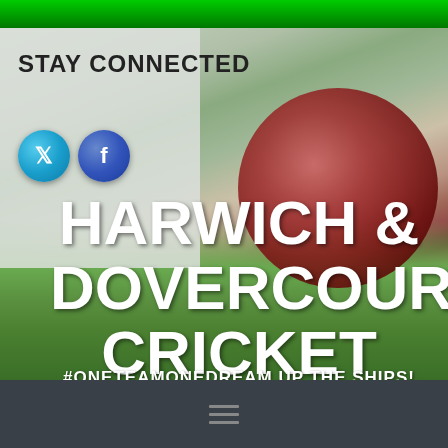[Figure (photo): Green top banner stripe, cricket field background with red cricket ball on grass]
STAY CONNECTED
[Figure (logo): Twitter bird icon (blue circular button) and Facebook 'f' icon (blue circular button)]
HARWICH & DOVERCOURT CRICKET CLUB
#ONETEAMONEDREAM UP THE SHIPS!
[Figure (other): Dark grey navigation bar with hamburger menu icon (three horizontal lines)]